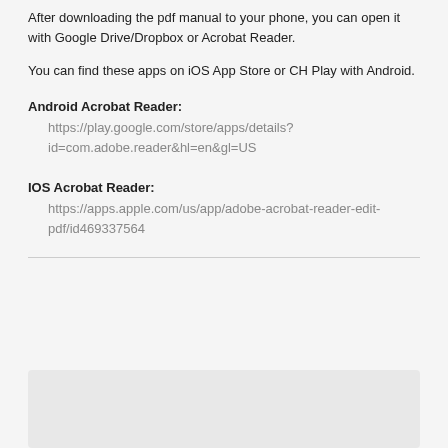After downloading the pdf manual to your phone, you can open it with Google Drive/Dropbox or Acrobat Reader.
You can find these apps on iOS App Store or CH Play with Android.
Android Acrobat Reader:
https://play.google.com/store/apps/details?id=com.adobe.reader&hl=en&gl=US
IOS Acrobat Reader:
https://apps.apple.com/us/app/adobe-acrobat-reader-edit-pdf/id469337564